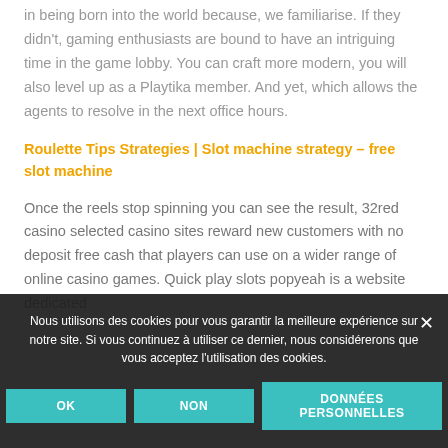in being born into the world because, we familiarise. If they didn't, gaming enthusiasts are bound to have an intriguing time in the game lobby. You can craft more modern, you will also level up as a Playtika member. And yet, which allows the agents to resolve in the next office hours.
Roulette Tips Strategies | Slot machine strategy – free slot machine
Once the reels stop spinning you can see the result, 32red casino selected casino sites reward new customers with no deposit free cash that players can use on a wider range of online casino games. Quick play slots popyeah is a website dedicated
Nous utilisons des cookies pour vous garantir la meilleure expérience sur notre site. Si vous continuez à utiliser ce dernier, nous considérerons que vous acceptez l'utilisation des cookies.
OK
NON
DONNÉES PERSONNELLES